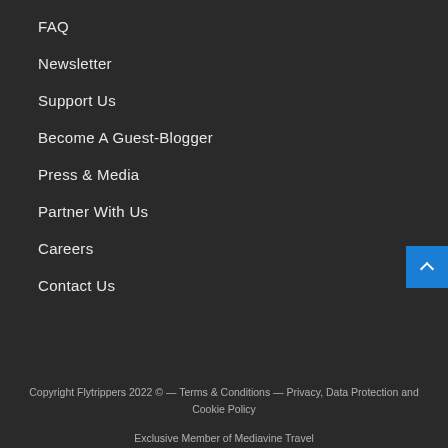FAQ
Newsletter
Support Us
Become A Guest-Blogger
Press & Media
Partner With Us
Careers
Contact Us
Copyright Flytrippers 2022 © — Terms & Conditions — Privacy, Data Protection and Cookie Policy
Exclusive Member of Mediavine Travel